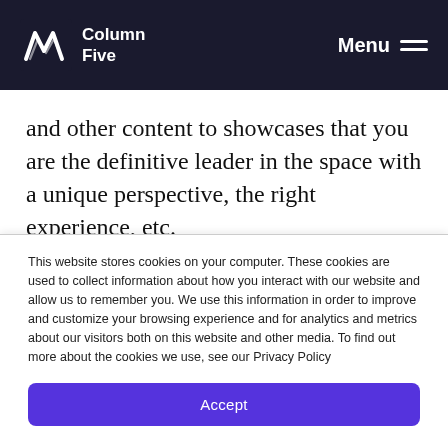Column Five | Menu
and other content to showcases that you are the definitive leader in the space with a unique perspective, the right experience, etc.
Example: Through an engaging Anatomy of a Breach interactive, Microsoft walks viewers through the stages of a major security breach—
This website stores cookies on your computer. These cookies are used to collect information about how you interact with our website and allow us to remember you. We use this information in order to improve and customize your browsing experience and for analytics and metrics about our visitors both on this website and other media. To find out more about the cookies we use, see our Privacy Policy
Accept